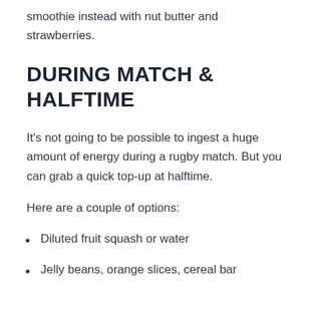smoothie instead with nut butter and strawberries.
DURING MATCH & HALFTIME
It's not going to be possible to ingest a huge amount of energy during a rugby match. But you can grab a quick top-up at halftime.
Here are a couple of options:
Diluted fruit squash or water
Jelly beans, orange slices, cereal bar